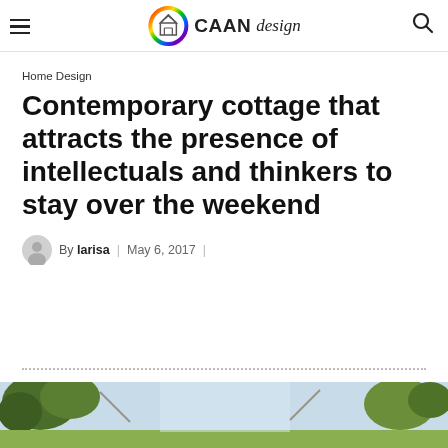CAAN design
Home Design
Contemporary cottage that attracts the presence of intellectuals and thinkers to stay over the weekend
By larisa | May 6, 2017 |
[Figure (photo): Outdoor photo of a cottage with trees and sky visible at the bottom of the page]